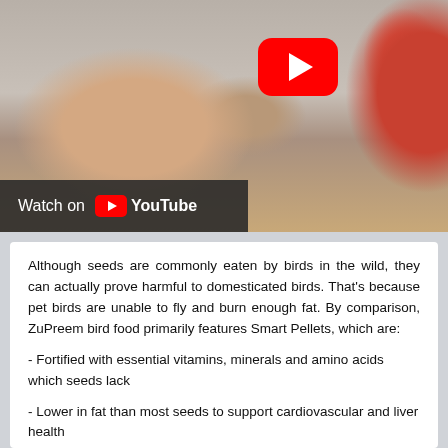[Figure (screenshot): YouTube video thumbnail showing a hand feeding a colorful bird (parrot), with a red YouTube play button in the upper right, and a 'Watch on YouTube' bar at the bottom left of the thumbnail.]
Although seeds are commonly eaten by birds in the wild, they can actually prove harmful to domesticated birds. That's because pet birds are unable to fly and burn enough fat. By comparison, ZuPreem bird food primarily features Smart Pellets, which are:
- Fortified with essential vitamins, minerals and amino acids which seeds lack
- Lower in fat than most seeds to support cardiovascular and liver health